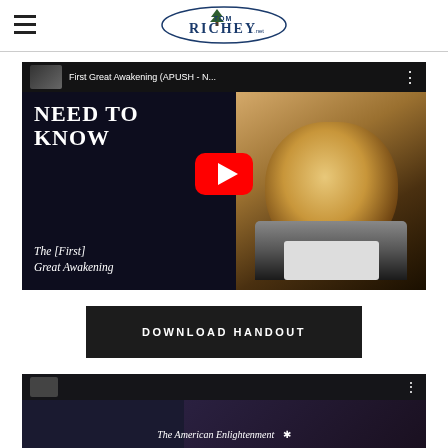[Figure (logo): Tom Richey .net logo with tree icon and oval border]
[Figure (screenshot): YouTube video thumbnail for 'First Great Awakening (APUSH - N...' showing text 'NEED TO KNOW' and 'The [First] Great Awakening' with a portrait of Jonathan Edwards and a YouTube play button]
DOWNLOAD HANDOUT
[Figure (screenshot): Partial YouTube video thumbnail showing 'The American Enlightenment' with a person and star icon]